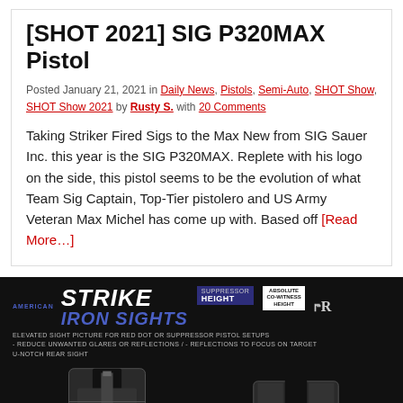[SHOT 2021] SIG P320MAX Pistol
Posted January 21, 2021 in Daily News, Pistols, Semi-Auto, SHOT Show, SHOT Show 2021 by Rusty S. with 20 Comments
Taking Striker Fired Sigs to the Max New from SIG Sauer Inc. this year is the SIG P320MAX. Replete with his logo on the side, this pistol seems to be the evolution of what Team Sig Captain, Top-Tier pistolero and US Army Veteran Max Michel has come up with. Based off [Read More…]
[Figure (photo): Strike iron sights advertisement on black background showing suppressor height sights with front and rear sight graphics]
[Figure (photo): Bottom strip showing a shooter photo, BFS logo in red, and Franklin Armory logo in white on grey background]
Stri… s –